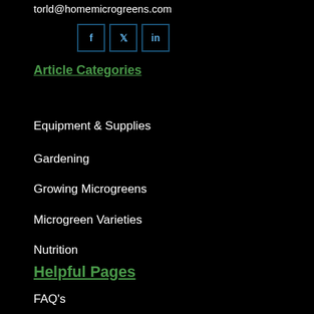torld@homemicrogreens.com
[Figure (illustration): Social media icons: Facebook (f), Twitter (bird), LinkedIn (in) in square bordered boxes]
Article Categories
Equipment & Supplies
Gardening
Growing Microgreens
Microgreen Varieties
Nutrition
Helpful Pages
FAQ's
Getting Started
Courses
Resources
Microgreens Podcast
Home Microgreens Store
Guest Post Policy